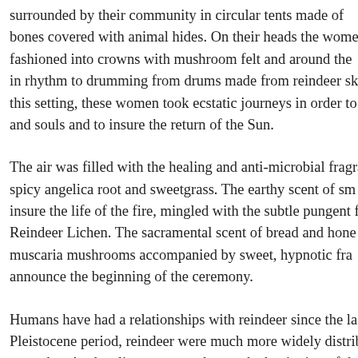surrounded by their community in circular tents made of bones covered with animal hides. On their heads the women fashioned into crowns with mushroom felt and around the in rhythm to drumming from drums made from reindeer sk this setting, these women took ecstatic journeys in order to and souls and to insure the return of the Sun.

The air was filled with the healing and anti-microbial fragra spicy angelica root and sweetgrass. The earthy scent of sm insure the life of the fire, mingled with the subtle pungent fr Reindeer Lichen. The sacramental scent of bread and hone muscaria mushrooms accompanied by sweet, hypnotic fra announce the beginning of the ceremony.

Humans have had a relationships with reindeer since the la Pleistocene period, reindeer were much more widely distrib are today. As the climate warmed up at the beginning of the species

...became more to the north and their range became more restricted. M...